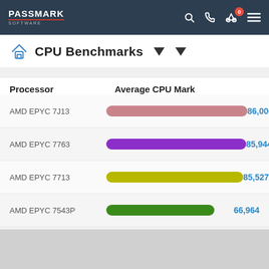PassMark Software
CPU Benchmarks
[Figure (bar-chart): Average CPU Mark]